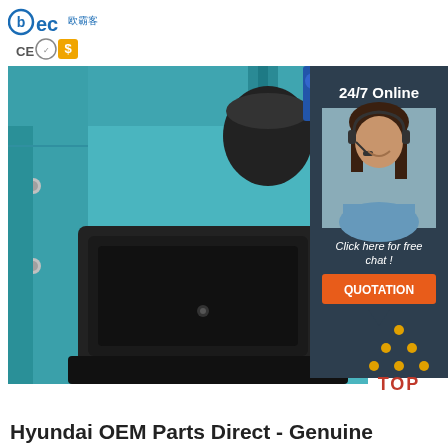[Figure (logo): BEC brand logo with Chinese characters and CE/certification badges]
[Figure (photo): Industrial cleaning machine in teal/turquoise color with black tray component visible, close-up product shot]
[Figure (infographic): 24/7 Online customer support panel with woman wearing headset, 'Click here for free chat!' text, and orange QUOTATION button]
[Figure (infographic): TOP scroll-to-top button with red dot triangle icon and TOP text]
Hyundai OEM Parts Direct - Genuine